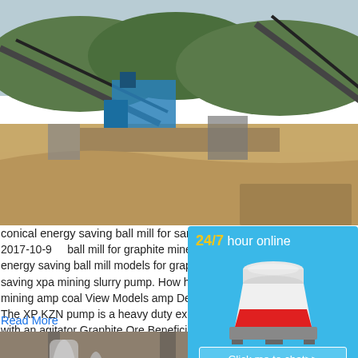[Figure (photo): Outdoor mining site with conveyor belts, machinery and excavated terrain, hills in background]
conical energy saving ball mill for sand in burma
2017-10-9    ball mill for graphite mine energy saving. cone energy saving ball mill models for graphite in canada. energy saving xpa mining slurry pump. How hard mill components can minimize your downtime and mining amp coal View Models amp Details ... The XP KZN pump is a heavy duty explosion proof pump with an agitator Graphite Ore Beneficiation ...
Read More
[Figure (photo): Industrial mining processing facility interior with machinery, piping and equipment]
[Figure (infographic): Blue sidebar ad: 24/7 hour online with cone crusher machine image, Click me to chat>> button, Enquiry section, limingjlmofen text]